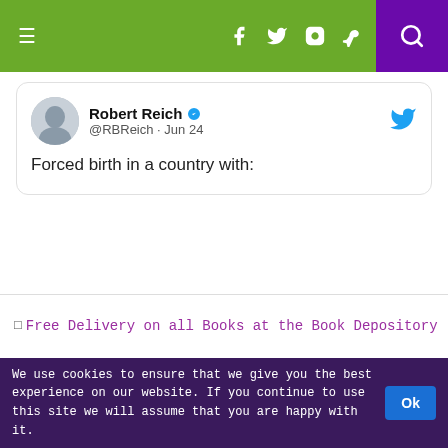Navigation bar with hamburger menu, social icons (f, twitter, instagram, pinterest), and search
[Figure (screenshot): Tweet card from Robert Reich (@RBreich) verified account, dated Jun 24, with Twitter bird logo. Tweet text: 'Forced birth in a country with:']
[Figure (other): Broken image placeholder link: Free Delivery on all Books at the Book Depository]
We use cookies to ensure that we give you the best experience on our website. If you continue to use this site we will assume that you are happy with it. Ok